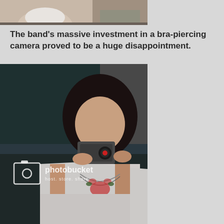[Figure (photo): Partial photo at top showing people, cropped at bottom of original image]
The band's massive investment in a bra-piercing camera proved to be a huge disappointment.
[Figure (photo): Mirror selfie photo of a young woman holding a compact digital camera up to her face, wearing a white top with floral necklace. Photobucket watermark overlaid reading 'photobucket host. store. share.']